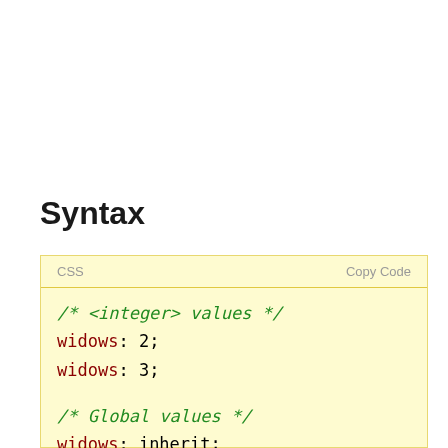Syntax
CSS code block showing widows property syntax with integer values (widows: 2; widows: 3;) and global values (widows: inherit; widows: initial;)